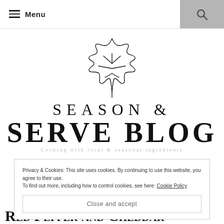≡ Menu
[Figure (logo): Season & Serve Blog logo with maple leaf illustration above the text SEASON & SERVE BLOG, with tagline 'Cooking with local & seasonal ingredients']
Privacy & Cookies: This site uses cookies. By continuing to use this website, you agree to their use. To find out more, including how to control cookies, see here: Cookie Policy
Close and accept
Red Pepper and Cheddar